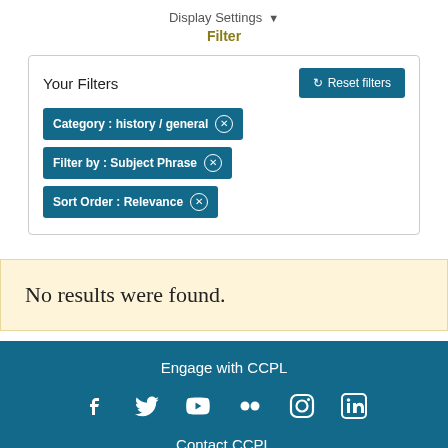Display Settings ▼
Filter
Your Filters
Reset filters
Category : history / general ×
Filter by : Subject Phrase ×
Sort Order : Relevance ×
No results were found.
Engage with CCPL
Contact CCPL